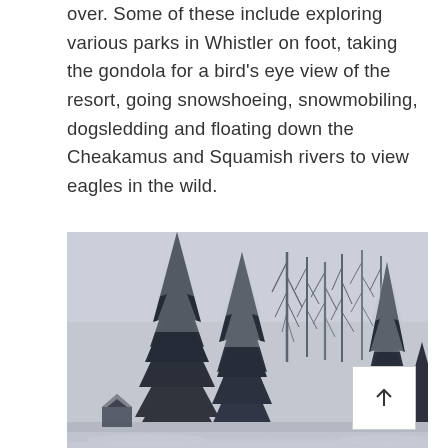over. Some of these include exploring various parks in Whistler on foot, taking the gondola for a bird's eye view of the resort, going snowshoeing, snowmobiling, dogsledding and floating down the Cheakamus and Squamish rivers to view eagles in the wild.
[Figure (photo): Black and white winter landscape photo showing snow-covered evergreen trees and bare deciduous trees in the background, with a snowy ground. A white square button with an upward arrow is overlaid in the bottom-right corner of the image.]